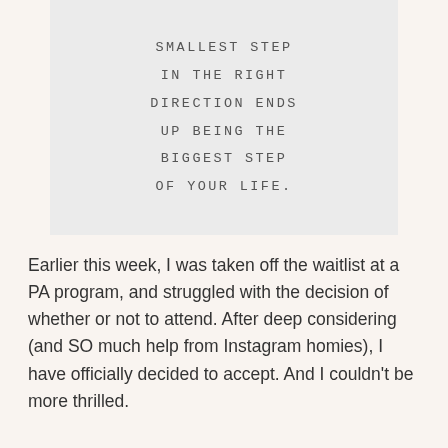[Figure (other): Gray box with motivational quote in spaced uppercase monospace lettering: SMALLEST STEP IN THE RIGHT DIRECTION ENDS UP BEING THE BIGGEST STEP OF YOUR LIFE.]
Earlier this week, I was taken off the waitlist at a PA program, and struggled with the decision of whether or not to attend. After deep considering (and SO much help from Instagram homies), I have officially decided to accept. And I couldn't be more thrilled.